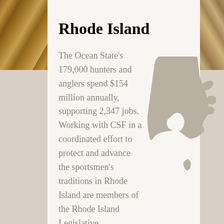Rhode Island
The Ocean State's 179,000 hunters and anglers spend $154 million annually, supporting 2,347 jobs. Working with CSF in a coordinated effort to protect and advance the sportsmen's traditions in Rhode Island are members of the Rhode Island Legislative Sportsmen's
[Figure (map): Silhouette map of Rhode Island state in tan/grey color, showing the mainland and coastal islands]